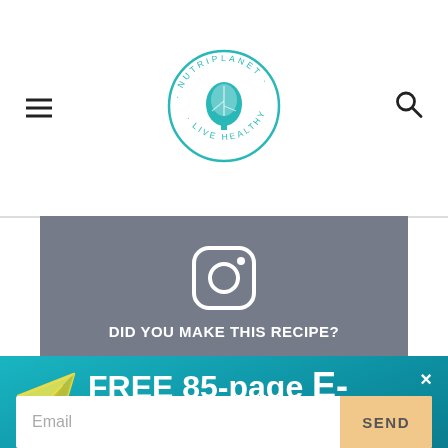Nutriplanet · Live Healthy (logo)
[Figure (logo): Nutriplanet Live Healthy circular logo with tree icon in teal]
DID YOU MAKE THIS RECIPE?
[Figure (illustration): Gray Instagram promotional banner with Instagram camera icon]
FREE 85-page E-BOOK
Guide to Transitioning to Healthy Whole Food Diet
Email
SEND